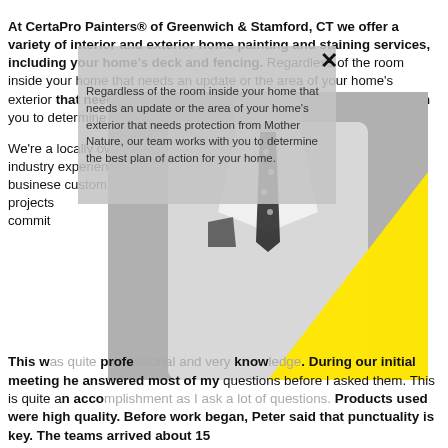At CertaPro Painters® of Greenwich & Stamford, CT we offer a variety of interior and exterior home painting and staining services, including your home's deck and fencing. Regardless of the room inside your home that needs an update or the area of your home's exterior that needs protection from Mother Nature, our team works with you to determine the best plan of action for your home. Home Painting
We're a locally owned and operated company with over 10 years of industry experience. We value honesty and integrity in all aspects of our business... customer... handyman... repair projects... our commitment... lasting relationships.
[Figure (photo): Black and white photo of a man in a white suit with a polka dot tie and pocket square, with a large yellow triangle overlaid on the lower right portion of the image.]
This was quite professional and very knowledgeable. During our initial meeting he answered most of my questions before I asked them. This is quite an accomplishment as I ask a lot of questions. Products used were high quality. Before work began, Peter said that punctuality is key. The teams arrived about 15 minutes prior to starting work and checked in...